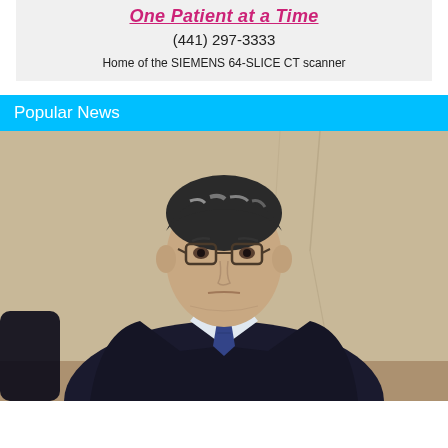One Patient at a Time
(441) 297-3333
Home of the SIEMENS 64-SLICE CT scanner
Popular News
[Figure (photo): Portrait photo of a middle-aged man with grey-streaked dark hair, wearing glasses, a dark suit jacket, white shirt, and patterned tie, seated against a beige/cream wall background.]